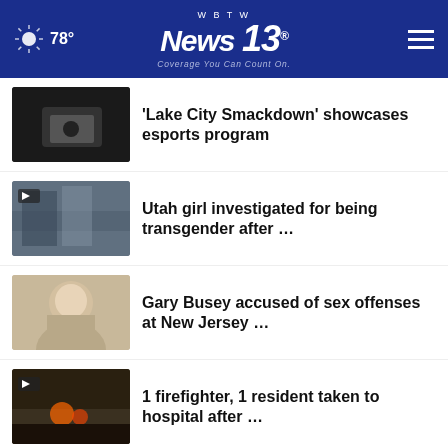WBTW News 13 — Coverage You Can Count On. 78°
'Lake City Smackdown' showcases esports program
Utah girl investigated for being transgender after …
Gary Busey accused of sex offenses at New Jersey …
1 firefighter, 1 resident taken to hospital after …
South Carolina man gets 25 years for shooting, killing …
More Stories ›